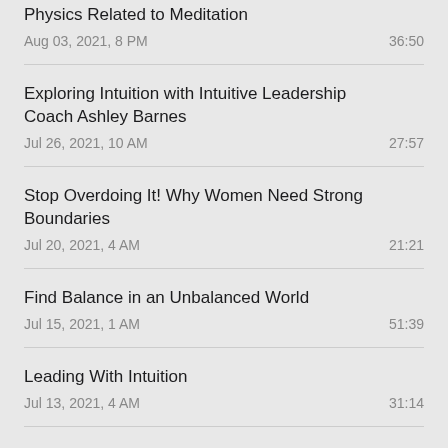Physics Related to Meditation
Aug 03, 2021, 8 PM
36:50
Exploring Intuition with Intuitive Leadership Coach Ashley Barnes
Jul 26, 2021, 10 AM
27:57
Stop Overdoing It! Why Women Need Strong Boundaries
Jul 20, 2021, 4 AM
21:21
Find Balance in an Unbalanced World
Jul 15, 2021, 1 AM
51:39
Leading With Intuition
Jul 13, 2021, 4 AM
31:14